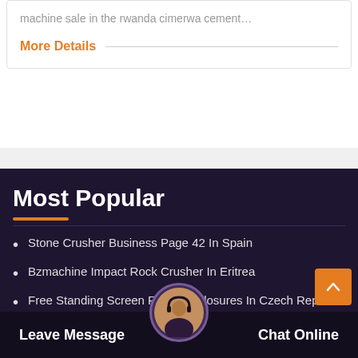machine sale in the rwanda cimerwa cement…
More Details
Most Popular
Stone Crusher Business Page 42 In Spain
Bzmachine Impact Rock Crusher In Eritrea
Free Standing Screen Room Enclosures In Czech Republic
Aggregate Crushing Equipment Suppliers French Guiana
3 Lb Capacity Ball Mill House Of Machine Company
National Iron Ore Mining Company Ltd
Leave Message   Chat Online